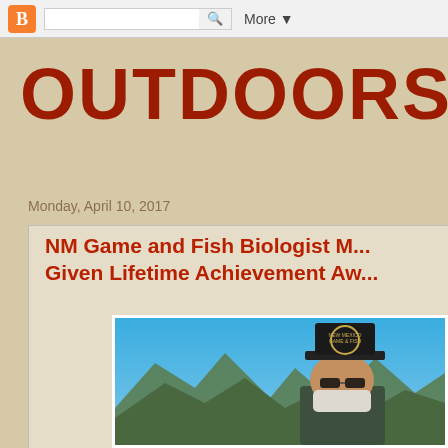[Figure (screenshot): Blogger navigation bar with orange B icon, search box, and More dropdown]
OUTDOORS
Monday, April 10, 2017
NM Game and Fish Biologist M... Given Lifetime Achievement Aw...
[Figure (photo): Person wearing a dark New Mexico Game & Fish cap and white face covering/bandana, outdoors with blue sky and mountains in background]